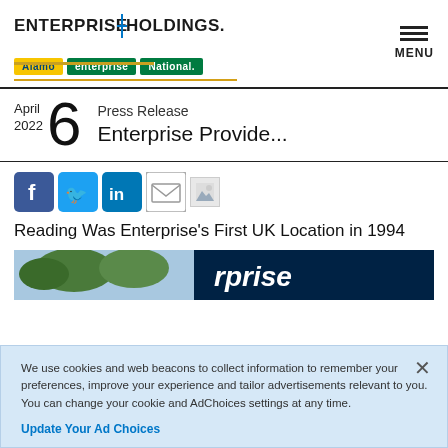ENTERPRISE HOLDINGS. Alamo | enterprise | National | MENU
April 2022  6  Press Release
Enterprise Provide...
Reading Was Enterprise's First UK Location in 1994
[Figure (photo): Partial photo of Enterprise car rental location sign with trees in background]
We use cookies and web beacons to collect information to remember your preferences, improve your experience and tailor advertisements relevant to you. You can change your cookie and AdChoices settings at any time.
Update Your Ad Choices